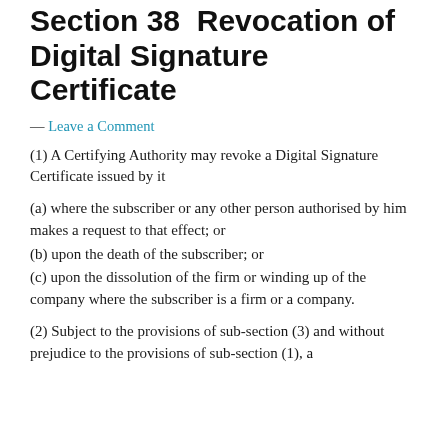Section 38  Revocation of Digital Signature Certificate
— Leave a Comment
(1) A Certifying Authority may revoke a Digital Signature Certificate issued by it
(a) where the subscriber or any other person authorised by him makes a request to that effect; or
(b) upon the death of the subscriber; or
(c) upon the dissolution of the firm or winding up of the company where the subscriber is a firm or a company.
(2) Subject to the provisions of sub-section (3) and without prejudice to the provisions of sub-section (1), a